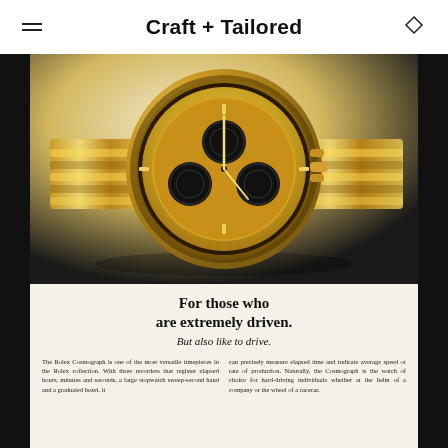Craft + Tailored
[Figure (photo): Rolex Cosmograph Daytona gold watch advertisement featuring a close-up of the watch with gold case and bracelet, chronograph subdials, and marketing copy text below.]
For those who are extremely driven.
But also like to drive.
The Rolex Cosmograph is one of the most versatile timepieces in the Rolex collection. With three recorders that register elapsed hours, minutes and seconds, a large stopwatch sweep-second hand and a graduated bezel, it can precisely measure elapsed time and indicate average speed or rate of production. Naturally, the Cosmograph is the watch of choice for hard-driving individuals whether at the helm of a company or the wheel of a racecar.